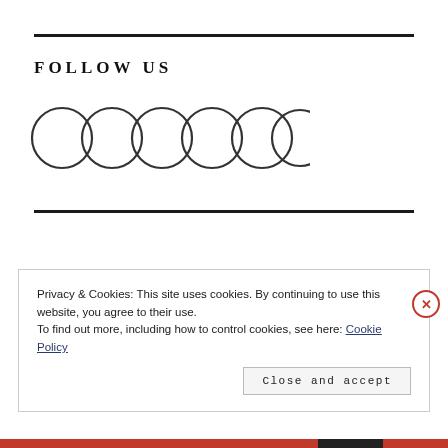FOLLOW US
[Figure (illustration): Six empty circles arranged horizontally, representing social media follow icons]
Privacy & Cookies: This site uses cookies. By continuing to use this website, you agree to their use.
To find out more, including how to control cookies, see here: Cookie Policy
Close and accept